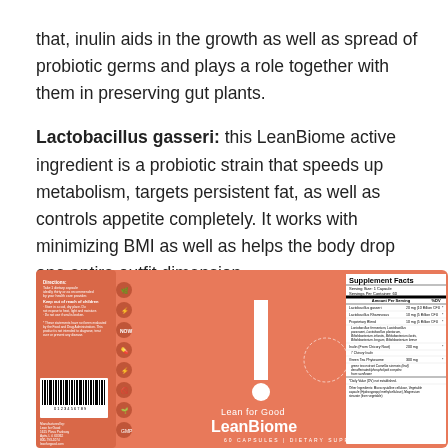that, inulin aids in the growth as well as spread of probiotic germs and plays a role together with them in preserving gut plants.
Lactobacillus gasseri: this LeanBiome active ingredient is a probiotic strain that speeds up metabolism, targets persistent fat, as well as controls appetite completely. It works with minimizing BMI as well as helps the body drop one entire outfit dimension.
[Figure (photo): LeanBiome supplement product label on salmon/coral colored background showing the Lean for Good LeanBiome bottle label with supplement facts panel listing Lactobacillus gasseri, Lactobacillus Rhamnosus, Proprietary Blend, and other ingredients including Inulin from Chicory Root and Green Tea Phytosome.]